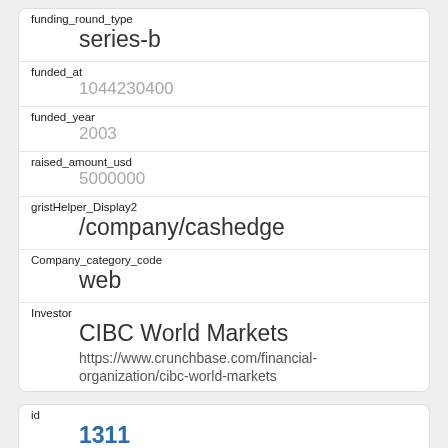| funding_round_type | series-b |
| funded_at | 1044230400 |
| funded_year | 2003 |
| raised_amount_usd | 5000000 |
| gristHelper_Display2 | /company/cashedge |
| Company_category_code | web |
| Investor | CIBC World Markets
https://www.crunchbase.com/financial-organization/cibc-world-markets |
| id | 1311 |
| manualSort | 1311 |